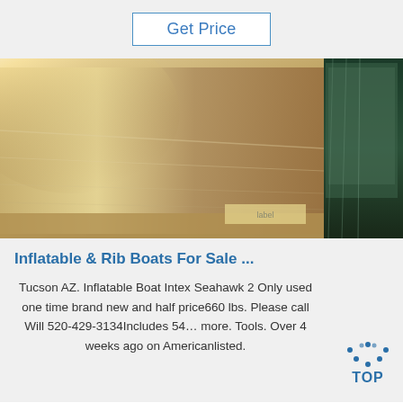Get Price
[Figure (photo): A shiny metallic/aluminum sheet or panel leaning against something, with a bright glare/reflection visible on its surface. In the background to the right, there appears to be plastic-wrapped material. The image has warm golden and silver tones.]
Inflatable & Rib Boats For Sale ...
Tucson AZ. Inflatable Boat Intex Seahawk 2 Only used one time brand new and half price660 lbs. Please call Will 520-429-3134Includes 54... more. Tools. Over 4 weeks ago on Americanlisted.
[Figure (logo): TOP logo with dotted arc above the word TOP in blue]